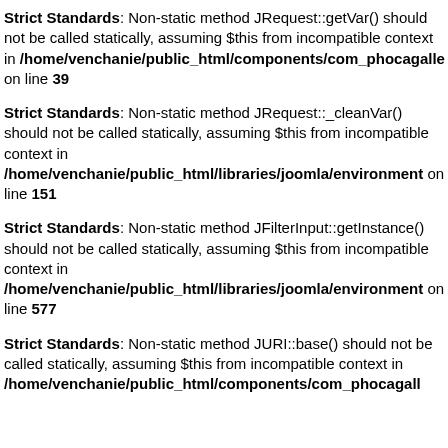Strict Standards: Non-static method JRequest::getVar() should not be called statically, assuming $this from incompatible context in /home/venchanie/public_html/components/com_phocagalle on line 39
Strict Standards: Non-static method JRequest::_cleanVar() should not be called statically, assuming $this from incompatible context in /home/venchanie/public_html/libraries/joomla/environment on line 151
Strict Standards: Non-static method JFilterInput::getInstance() should not be called statically, assuming $this from incompatible context in /home/venchanie/public_html/libraries/joomla/environment on line 577
Strict Standards: Non-static method JURI::base() should not be called statically, assuming $this from incompatible context in /home/venchanie/public_html/components/com_phocagall